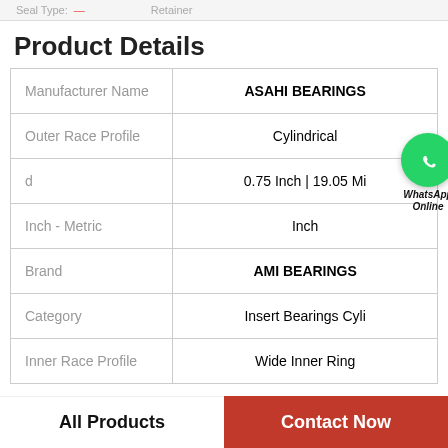Seal Type: — Retainer
Product Details
| Field | Value |
| --- | --- |
| Manufacturer Name | ASAHI BEARINGS |
| Outer Race Profile | Cylindrical |
| d | 0.75 Inch | 19.05 Mi |
| Inch - Metric | Inch |
| Brand | AMI BEARINGS |
| Category | Insert Bearings Cyli |
| Inner Race Profile | Wide Inner Ring |
[Figure (logo): WhatsApp Online green circle badge with phone icon and text 'WhatsApp Online']
All Products | Contact Now